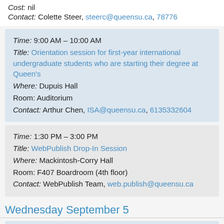Cost: nil
Contact: Colette Steer, steerc@queensu.ca, 78776
Time: 9:00 AM – 10:00 AM
Title: Orientation session for first-year international undergraduate students who are starting their degree at Queen's
Where: Dupuis Hall
Room: Auditorium
Contact: Arthur Chen, ISA@queensu.ca, 6135332604
Time: 1:30 PM – 3:00 PM
Title: WebPublish Drop-In Session
Where: Mackintosh-Corry Hall
Room: F407 Boardroom (4th floor)
Contact: WebPublish Team, web.publish@queensu.ca
Wednesday September 5
Time: 8:30 AM – 4:30 PM
Title: Teaching Development Day
Where: Various Rooms - See event details